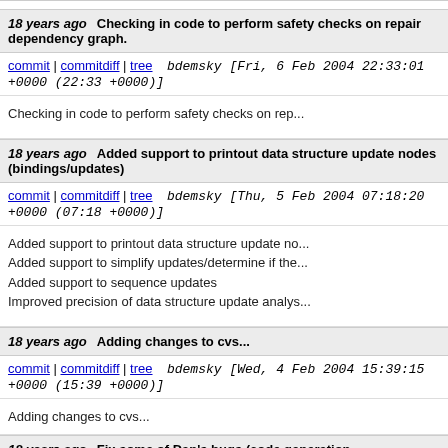18 years ago  Checking in code to perform safety checks on repair dependency graph.
commit | commitdiff | tree  bdemsky [Fri, 6 Feb 2004 22:33:01 +0000 (22:33 +0000)]
Checking in code to perform safety checks on repa...
18 years ago  Added support to printout data structure update nodes (bindings/updates)
commit | commitdiff | tree  bdemsky [Thu, 5 Feb 2004 07:18:20 +0000 (07:18 +0000)]
Added support to printout data structure update no...
Added support to simplify updates/determine if the...
Added support to sequence updates
Improved precision of data structure update analys...
18 years ago  Adding changes to cvs...
commit | commitdiff | tree  bdemsky [Wed, 4 Feb 2004 15:39:15 +0000 (15:39 +0000)]
Adding changes to cvs...
18 years ago  Fix some of Dan's bugs (code generation...